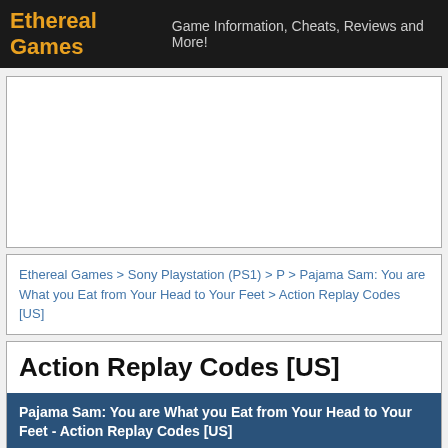Ethereal Games — Game Information, Cheats, Reviews and More!
[Figure (other): Advertisement placeholder box, white background with gray border]
Ethereal Games > Sony Playstation (PS1) > P > Pajama Sam: You are What you Eat from Your Head to Your Feet > Action Replay Codes [US]
Action Replay Codes [US]
Pajama Sam: You are What you Eat from Your Head to Your Feet - Action Replay Codes [US]